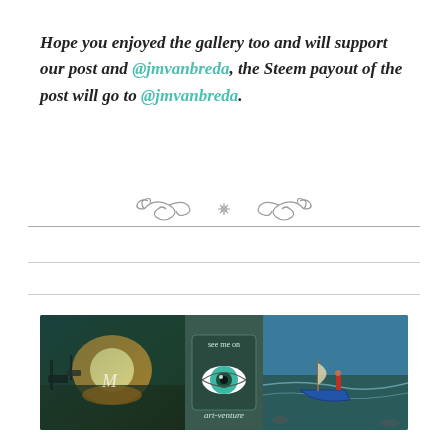Hope you enjoyed the gallery too and will support our post and @jmvanbreda, the Steem payout of the post will go to @jmvanbreda.
[Figure (illustration): Decorative ornamental divider with scrollwork and a small cross/flower motif in the center, flanked by horizontal lines]
[Figure (photo): Art-venture banner image showing three panels: left panel with a harbor/ships painting, center panel with a green eye illustration and text 'see me on art-venture', right panel with a boat on beach painting]